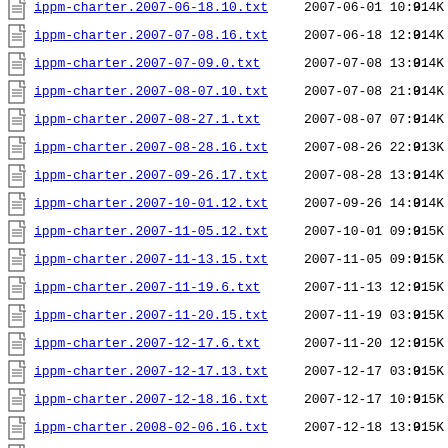ippm-charter.2007-07-08.16.txt 2007-06-18 12:01 9.4K
ippm-charter.2007-07-09.0.txt 2007-07-08 13:01 9.4K
ippm-charter.2007-08-07.10.txt 2007-07-08 21:01 9.4K
ippm-charter.2007-08-27.1.txt 2007-08-07 07:01 9.4K
ippm-charter.2007-08-28.16.txt 2007-08-26 22:01 9.3K
ippm-charter.2007-09-26.17.txt 2007-08-28 13:01 9.4K
ippm-charter.2007-10-01.12.txt 2007-09-26 14:01 9.4K
ippm-charter.2007-11-05.12.txt 2007-10-01 09:01 9.5K
ippm-charter.2007-11-13.15.txt 2007-11-05 09:01 9.5K
ippm-charter.2007-11-19.6.txt 2007-11-13 12:01 9.5K
ippm-charter.2007-11-20.15.txt 2007-11-19 03:01 9.5K
ippm-charter.2007-12-17.6.txt 2007-11-20 12:01 9.5K
ippm-charter.2007-12-17.13.txt 2007-12-17 03:01 9.5K
ippm-charter.2007-12-18.16.txt 2007-12-17 10:01 9.5K
ippm-charter.2008-02-06.16.txt 2007-12-18 13:01 9.5K
ippm-charter.2008-02-11.18.txt 2008-02-06 16:05 9.5K
ippm-charter.2008-02-15.6.txt 2008-02-11 18:05 9.5K